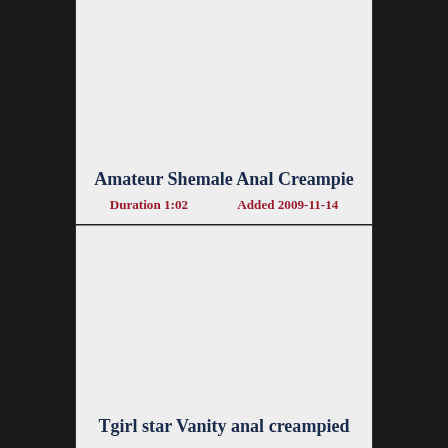Amateur Shemale Anal Creampie
Duration 1:02    Added 2009-11-14
Tgirl star Vanity anal creampied